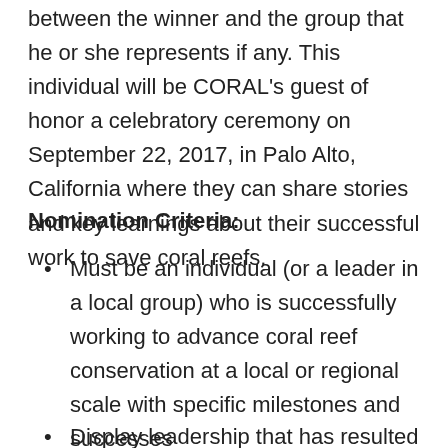between the winner and the group that he or she represents if any. This individual will be CORAL's guest of honor a celebratory ceremony on September 22, 2017, in Palo Alto, California where they can share stories and key learnings about their successful work to save coral reefs.
Nomination Criteria:
Must be an individual (or a leader in a local group) who is successfully working to advance coral reef conservation at a local or regional scale with specific milestones and successes
Display leadership that has resulted in